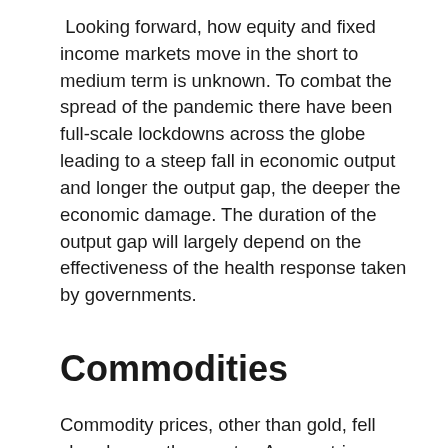Looking forward, how equity and fixed income markets move in the short to medium term is unknown. To combat the spread of the pandemic there have been full-scale lockdowns across the globe leading to a steep fall in economic output and longer the output gap, the deeper the economic damage. The duration of the output gap will largely depend on the effectiveness of the health response taken by governments.
Commodities
Commodity prices, other than gold, fell sharply over the quarter. As countries around the world halted activity to try to bring the spread of the virus under control, demand for most commodities declined, hitting prices. Oil was caught in a perfect storm with an agreement between OPEC and